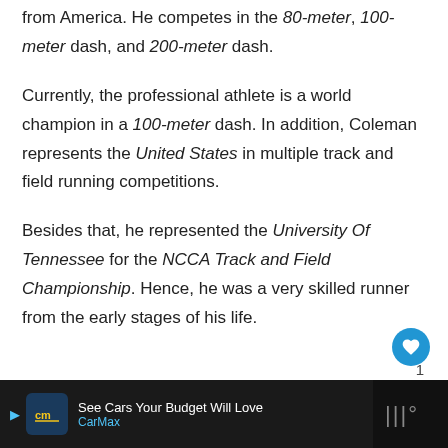from America. He competes in the 80-meter, 100-meter dash, and 200-meter dash.
Currently, the professional athlete is a world champion in a 100-meter dash. In addition, Coleman represents the United States in multiple track and field running competitions.
Besides that, he represented the University Of Tennessee for the NCCA Track and Field Championship. Hence, he was a very skilled runner from the early stages of his life.
1